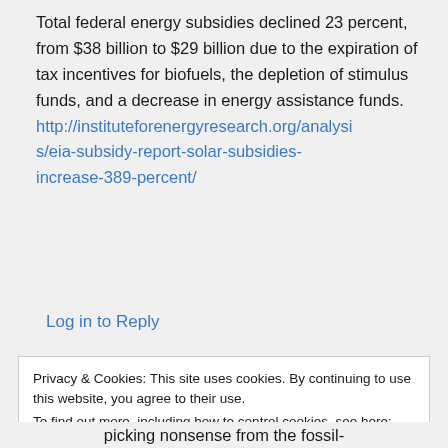Total federal energy subsidies declined 23 percent, from $38 billion to $29 billion due to the expiration of tax incentives for biofuels, the depletion of stimulus funds, and a decrease in energy assistance funds. http://instituteforenergyresearch.org/analysis/eia-subsidy-report-solar-subsidies-increase-389-percent/
Log in to Reply
Privacy & Cookies: This site uses cookies. By continuing to use this website, you agree to their use. To find out more, including how to control cookies, see here: Cookie Policy
picking nonsense from the fossil-